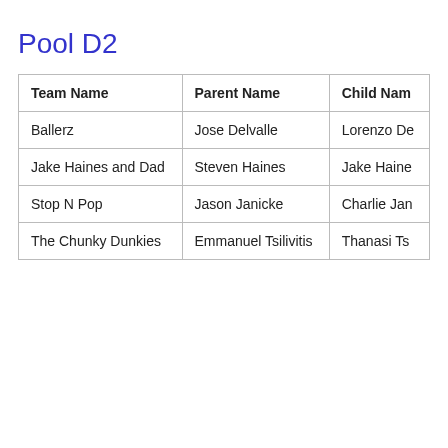Pool D2
| Team Name | Parent Name | Child Nam… |
| --- | --- | --- |
| Ballerz | Jose Delvalle | Lorenzo De… |
| Jake Haines and Dad | Steven Haines | Jake Haine… |
| Stop N Pop | Jason Janicke | Charlie Jan… |
| The Chunky Dunkies | Emmanuel Tsilivitis | Thanasi Ts… |